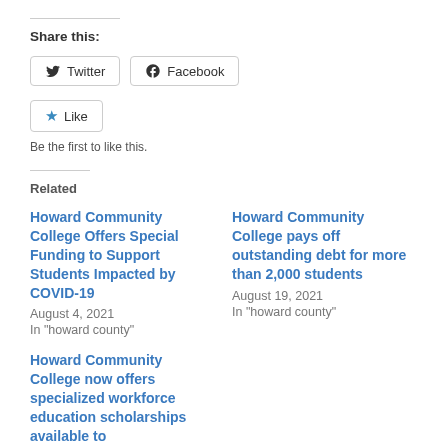Share this:
Twitter  Facebook
Like
Be the first to like this.
Related
Howard Community College Offers Special Funding to Support Students Impacted by COVID-19
August 4, 2021
In "howard county"
Howard Community College pays off outstanding debt for more than 2,000 students
August 19, 2021
In "howard county"
Howard Community College now offers specialized workforce education scholarships available to